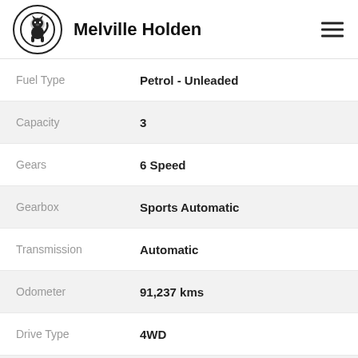Melville Holden
| Field | Value |
| --- | --- |
| Fuel Type | Petrol - Unleaded |
| Capacity | 3 |
| Gears | 6 Speed |
| Gearbox | Sports Automatic |
| Transmission | Automatic |
| Odometer | 91,237 kms |
| Drive Type | 4WD |
CONTACT US
FINANCE THIS VEHICLE